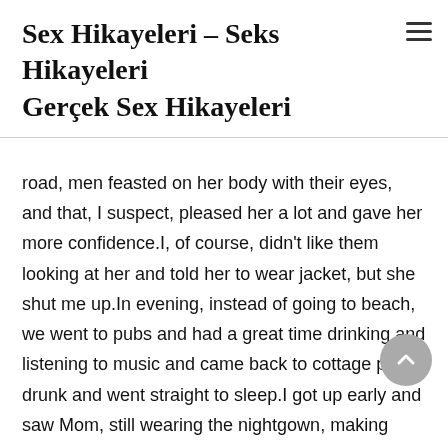Sex Hikayeleri – Seks Hikayeleri Gerçek Sex Hikayeleri
road, men feasted on her body with their eyes, and that, I suspect, pleased her a lot and gave her more confidence.I, of course, didn't like them looking at her and told her to wear jacket, but she shut me up.In evening, instead of going to beach, we went to pubs and had a great time drinking and listening to music and came back to cottage pretty drunk and went straight to sleep.I got up early and saw Mom, still wearing the nightgown, making coffee, so I crept into her room and, after keeping a shopping bag on her bed, told her to go inside her room and open the bag that's on the bed.She looked